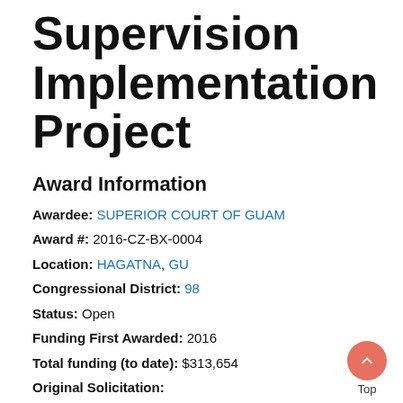Supervision Implementation Project
Award Information
Awardee: SUPERIOR COURT OF GUAM
Award #: 2016-CZ-BX-0004
Location: HAGATNA, GU
Congressional District: 98
Status: Open
Funding First Awarded: 2016
Total funding (to date): $313,654
Original Solicitation:
OJJDP FY 16 Second Chance Act Smart on Juvenile Justice: Community Supervision